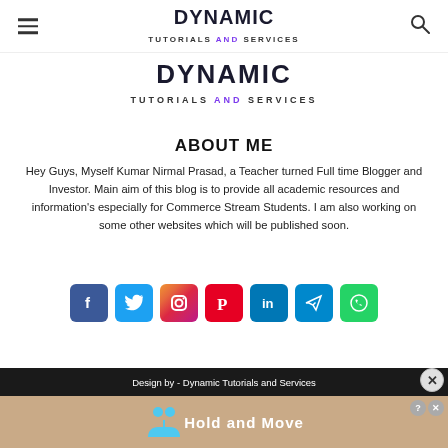DYNAMIC TUTORIALS AND SERVICES
[Figure (logo): Dynamic Tutorials and Services logo with bold DYNAMIC text and subtitle]
ABOUT ME
Hey Guys, Myself Kumar Nirmal Prasad, a Teacher turned Full time Blogger and Investor. Main aim of this blog is to provide all academic resources and information's especially for Commerce Stream Students. I am also working on some other websites which will be published soon.
[Figure (infographic): Social media icons: Facebook, Twitter, Instagram, Pinterest, LinkedIn, Telegram, WhatsApp]
Design by - Dynamic Tutorials and Services